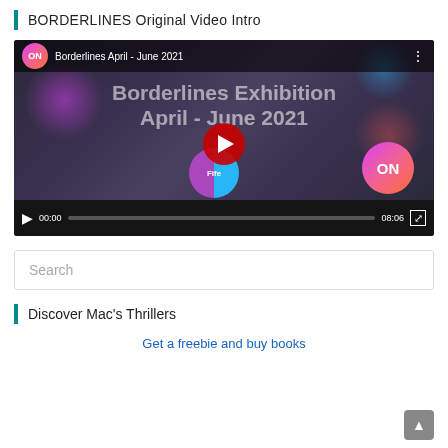BORDERLINES Original Video Intro
[Figure (screenshot): YouTube-style embedded video player showing 'Borderlines April - June 2021' with ON channel logo, video title overlay 'Borderlines Exhibition April - June 2021', red play button, and video controls showing 00:00 / 08:06]
Search
Discover Mac's Thrillers
Get a freebie and buy books